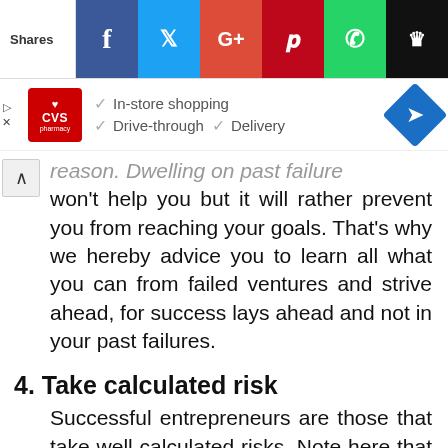[Figure (screenshot): Social media share bar with Facebook, Twitter, Google+, Pinterest, WhatsApp, and crown icon buttons]
[Figure (screenshot): CVS Pharmacy advertisement banner with checkmarks for In-store shopping, Drive-through, and Delivery options]
reason. Dwelling on past failure won't help you but it will rather prevent you from reaching your goals. That's why we hereby advice you to learn all what you can from failed ventures and strive ahead, for success lays ahead and not in your past failures.
4. Take calculated risk
Successful entrepreneurs are those that take well calculated risks. Note here that it is not just about taking